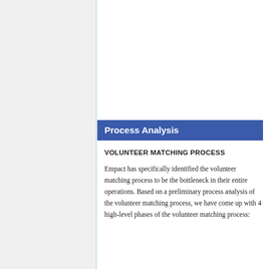Process Analysis
VOLUNTEER MATCHING PROCESS
Empact has specifically identified the volunteer matching process to be the bottleneck in their entire operations. Based on a preliminary process analysis of the volunteer matching process, we have come up with 4 high-level phases of the volunteer matching process: